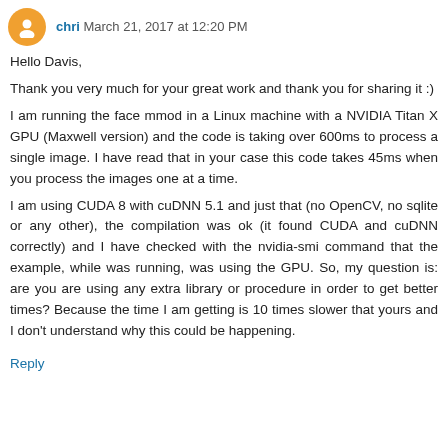chri March 21, 2017 at 12:20 PM
Hello Davis,

Thank you very much for your great work and thank you for sharing it :)
I am running the face mmod in a Linux machine with a NVIDIA Titan X GPU (Maxwell version) and the code is taking over 600ms to process a single image. I have read that in your case this code takes 45ms when you process the images one at a time.
I am using CUDA 8 with cuDNN 5.1 and just that (no OpenCV, no sqlite or any other), the compilation was ok (it found CUDA and cuDNN correctly) and I have checked with the nvidia-smi command that the example, while was running, was using the GPU. So, my question is: are you are using any extra library or procedure in order to get better times? Because the time I am getting is 10 times slower that yours and I don't understand why this could be happening.
Reply